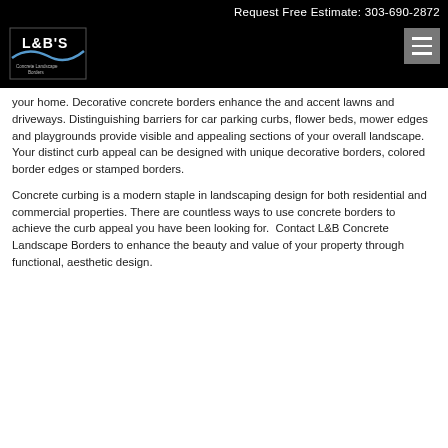Request Free Estimate: 303-690-2872
[Figure (logo): L&B's Concrete Landscape Borders logo with stylized wave graphic]
your home. Decorative concrete borders enhance the and accent lawns and driveways. Distinguishing barriers for car parking curbs, flower beds, mower edges and playgrounds provide visible and appealing sections of your overall landscape. Your distinct curb appeal can be designed with unique decorative borders, colored border edges or stamped borders.
Concrete curbing is a modern staple in landscaping design for both residential and commercial properties. There are countless ways to use concrete borders to achieve the curb appeal you have been looking for.  Contact L&B Concrete Landscape Borders to enhance the beauty and value of your property through functional, aesthetic design.